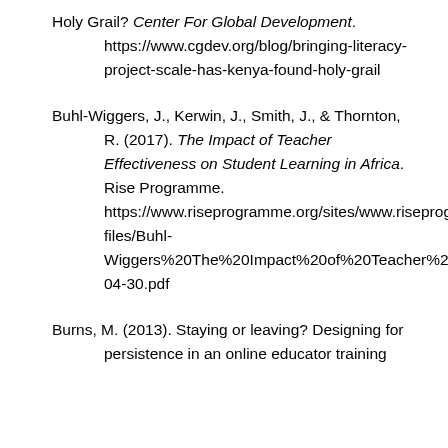Holy Grail? Center For Global Development. https://www.cgdev.org/blog/bringing-literacy-project-scale-has-kenya-found-holy-grail
Buhl-Wiggers, J., Kerwin, J., Smith, J., & Thornton, R. (2017). The Impact of Teacher Effectiveness on Student Learning in Africa. Rise Programme. https://www.riseprogramme.org/sites/www.riseprogramme.org/files/inline-files/Buhl-Wiggers%20The%20Impact%20of%20Teacher%20Effectiveness%202017-04-30.pdf
Burns, M. (2013). Staying or leaving? Designing for persistence in an online educator training